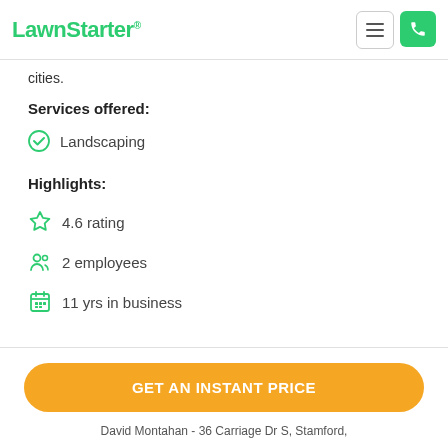LawnStarter
cities.
Services offered:
Landscaping
Highlights:
4.6 rating
2 employees
11 yrs in business
GET AN INSTANT PRICE
David Montahan - 36 Carriage Dr S, Stamford,